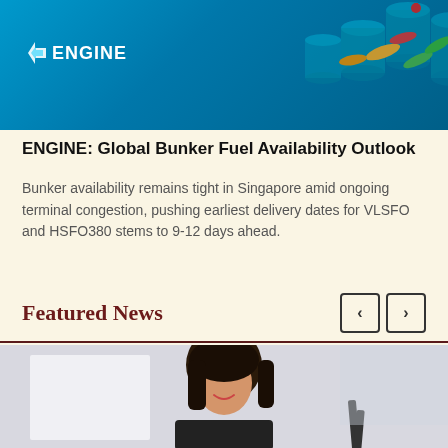[Figure (illustration): ENGINE brand header image with teal/blue background showing cylindrical containers and colorful fish/torpedo shapes, with ENGINE logo on the left]
ENGINE: Global Bunker Fuel Availability Outlook
Bunker availability remains tight in Singapore amid ongoing terminal congestion, pushing earliest delivery dates for VLSFO and HSFO380 stems to 9-12 days ahead.
Featured News
[Figure (photo): Photo of a smiling Asian woman with dark hair, appearing to be in an office or professional setting]